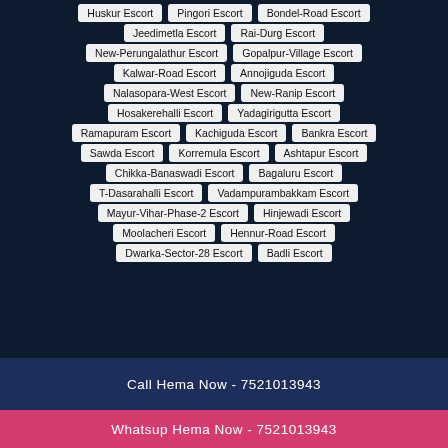Huskur Escort
Pingori Escort
Bondel-Road Escort
Jeedimetla Escort
Rai-Durg Escort
New-Perungalathur Escort
Gopalpur-Village Escort
Kalwar-Road Escort
Annojiguda Escort
Nalasopara-West Escort
New-Ranip Escort
Hosakerehalli Escort
Yadagirigutta Escort
Ramapuram Escort
Kachiguda Escort
Bankra Escort
Sawda Escort
Korremula Escort
Ashtapur Escort
Chikka-Banaswadi Escort
Bagaluru Escort
T-Dasarahalli Escort
Vadampurambakkam Escort
Mayur-Vihar-Phase-2 Escort
Hinjewadi Escort
Moolacheri Escort
Hennur-Road Escort
Dwarka-Sector-28 Escort
Badli Escort
Call Hema Now - 7521013943
Whatsup Hema Now - 7521013943